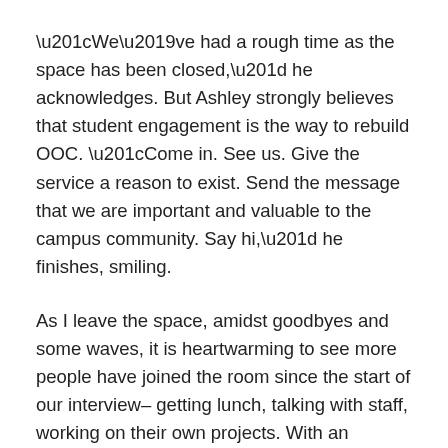“We’ve had a rough time as the space has been closed,” he acknowledges. But Ashley strongly believes that student engagement is the way to rebuild OOC. “Come in. See us. Give the service a reason to exist. Send the message that we are important and valuable to the campus community. Say hi,” he finishes, smiling.
As I leave the space, amidst goodbyes and some waves, it is heartwarming to see more people have joined the room since the start of our interview– getting lunch, talking with staff, working on their own projects. With an accomplished veteran of tricky transitions at the helm, it looks like the Out on Campus space will continue to bring LGBTQ2IA+ students a warm place to call their own.
If you miss chatting with OOC staff during the Clubs Days week, make sure to check out their re-opening event, January...